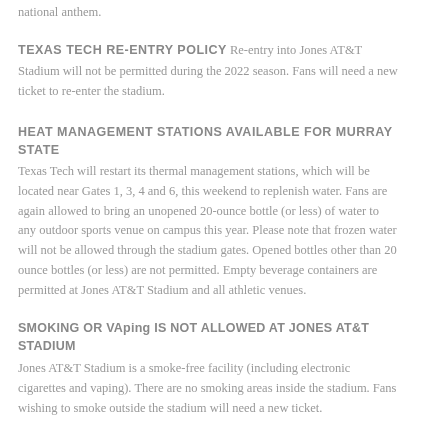national anthem.
TEXAS TECH RE-ENTRY POLICY Re-entry into Jones AT&T Stadium will not be permitted during the 2022 season. Fans will need a new ticket to re-enter the stadium.
HEAT MANAGEMENT STATIONS AVAILABLE FOR MURRAY STATE
Texas Tech will restart its thermal management stations, which will be located near Gates 1, 3, 4 and 6, this weekend to replenish water. Fans are again allowed to bring an unopened 20-ounce bottle (or less) of water to any outdoor sports venue on campus this year. Please note that frozen water will not be allowed through the stadium gates. Opened bottles other than 20 ounce bottles (or less) are not permitted. Empty beverage containers are permitted at Jones AT&T Stadium and all athletic venues.
SMOKING OR VAping IS NOT ALLOWED AT JONES AT&T STADIUM
Jones AT&T Stadium is a smoke-free facility (including electronic cigarettes and vaping). There are no smoking areas inside the stadium. Fans wishing to smoke outside the stadium will need a new ticket.